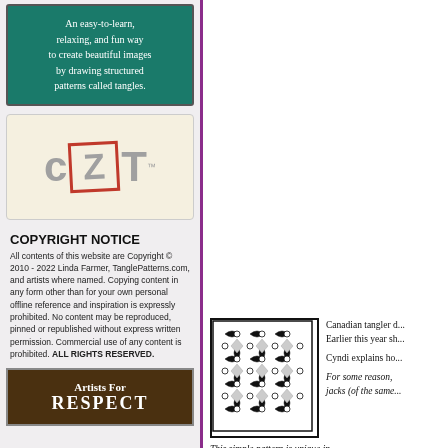[Figure (infographic): Green banner with white text: An easy-to-learn, relaxing, and fun way to create beautiful images by drawing structured patterns called tangles.]
[Figure (logo): CZT logo on cream background with red hand-drawn square around Z]
COPYRIGHT NOTICE
All contents of this website are Copyright © 2010 - 2022 Linda Farmer, TanglePatterns.com, and artists where named. Copying content in any form other than for your own personal offline reference and inspiration is expressly prohibited. No content may be reproduced, pinned or republished without express written permission. Commercial use of any content is prohibited. ALL RIGHTS RESERVED.
[Figure (illustration): Artists For RESPECT banner/advertisement with dark brown background]
[Figure (illustration): Black and white tangle pattern tile with star/diamond geometric design]
Canadian tangler d... Earlier this year sh...
Cyndi explains ho...
For some reason, jacks (of the same...
This simple pattern is unique in... also has numerous variation a...
JaxStar reminds me of heraldic de... thought. For my example of this ver... touch of graphite in the spaces surr...